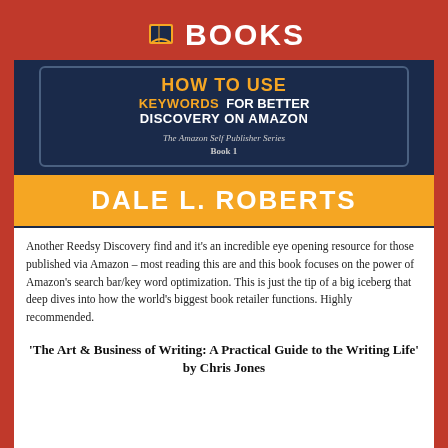[Figure (illustration): Book cover for 'How to Use Keywords for Better Discovery on Amazon' by Dale L. Roberts. Dark navy background with orange text 'HOW TO USE', white text 'KEYWORDS FOR BETTER DISCOVERY ON AMAZON', series info 'The Amazon Self Publisher Series Book 1', and orange banner with white text 'DALE L. ROBERTS'. Red header bar at top with book icon and 'BOOKS' text.]
Another Reedsy Discovery find and it's an incredible eye opening resource for those published via Amazon – most reading this are and this book focuses on the power of Amazon's search bar/key word optimization. This is just the tip of a big iceberg that deep dives into how the world's biggest book retailer functions. Highly recommended.
'The Art & Business of Writing: A Practical Guide to the Writing Life' by Chris Jones